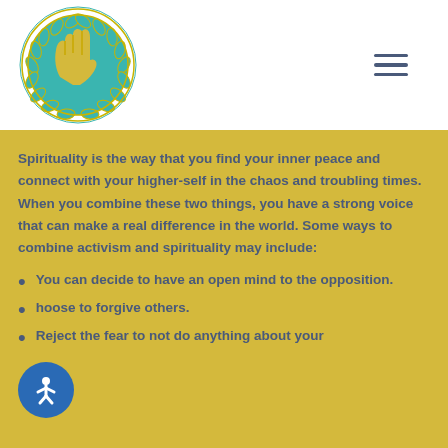[Figure (logo): Circular logo with teal background and yellow hands/peace symbol, surrounded by laurel wreath]
Spirituality is the way that you find your inner peace and connect with your higher-self in the chaos and troubling times. When you combine these two things, you have a strong voice that can make a real difference in the world. Some ways to combine activism and spirituality may include:
You can decide to have an open mind to the opposition.
hoose to forgive others.
Reject the fear to not do anything about your